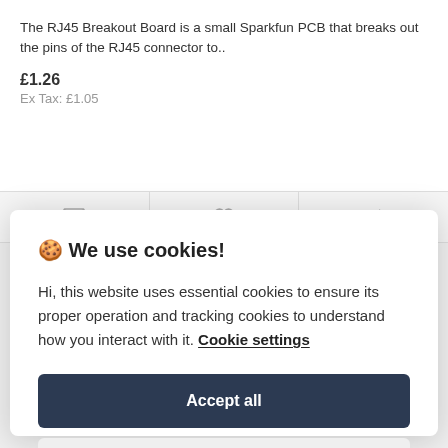The RJ45 Breakout Board is a small Sparkfun PCB that breaks out the pins of the RJ45 connector to..
£1.26
Ex Tax: £1.05
🍪 We use cookies!
Hi, this website uses essential cookies to ensure its proper operation and tracking cookies to understand how you interact with it. Cookie settings
Accept all
Reject all